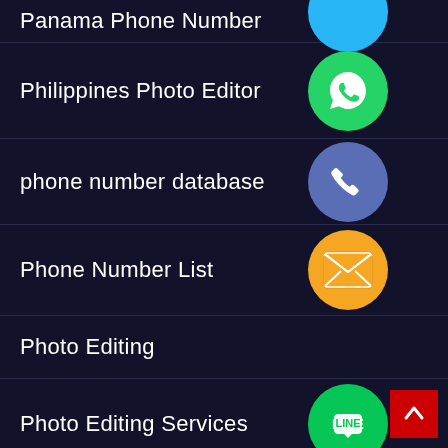Panama Phone Number
Philippines Photo Editor
phone number database
Phone Number List
Photo Editing
Photo Editing Services
Photo Restoration Service
Photo Retouching Service
Poland Phone Number